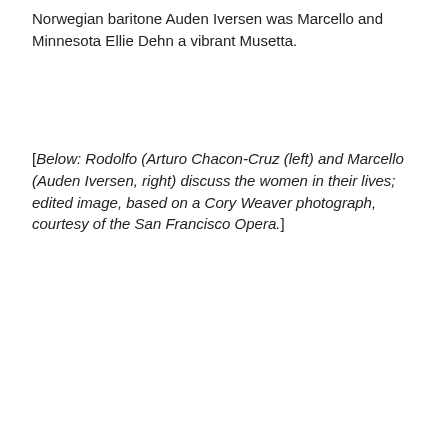Norwegian baritone Auden Iversen was Marcello and Minnesota Ellie Dehn a vibrant Musetta.
[Below: Rodolfo (Arturo Chacon-Cruz (left) and Marcello (Auden Iversen, right) discuss the women in their lives; edited image, based on a Cory Weaver photograph, courtesy of the San Francisco Opera.]